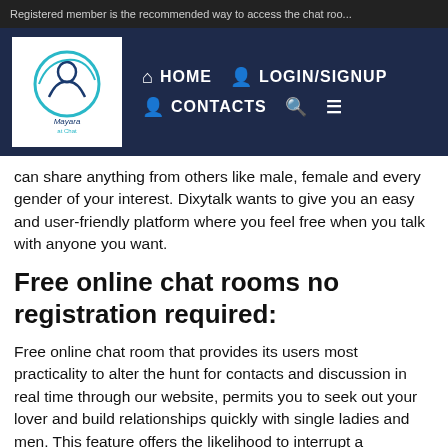Registered member is the recommended way to access the chat roo...
[Figure (logo): Mayara Chat logo with circular emblem and text]
HOME  LOGIN/SIGNUP  CONTACTS  (search icon)  (menu icon)
can share anything from others like male, female and every gender of your interest. Dixytalk wants to give you an easy and user-friendly platform where you feel free when you talk with anyone you want.
Free online chat rooms no registration required:
Free online chat room that provides its users most practicality to alter the hunt for contacts and discussion in real time through our website, permits you to seek out your lover and build relationships quickly with single ladies and men. This feature offers the likelihood to interrupt a discussion cluster at any time to start out a personal free chat communication.
A distinctive chance to induce grasp quickly and simply with singles from all regions and ages. The site allows to talk and initiate meetings, it's additionally a platform